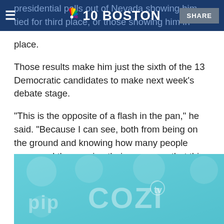NBC10 Boston — SHARE
presidential polls out of Nevada showing him tied for third place, or those showing him in second place.
Those results make him just the sixth of the 13 Democratic candidates to make next week's debate stage.
"This is the opposite of a flash in the pan," he said. "Because I can see, both from being on the ground and knowing how many people come and then seeing their response, that this is something that has been gradually but consistently building since I got in the race."
[Figure (logo): Cozi TV advertisement banner with cartoon character bubbles on a teal/cyan background]